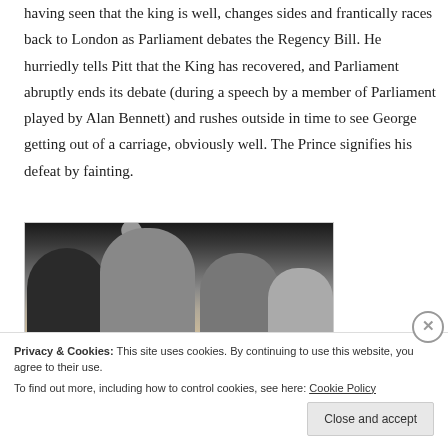having seen that the king is well, changes sides and frantically races back to London as Parliament debates the Regency Bill. He hurriedly tells Pitt that the King has recovered, and Parliament abruptly ends its debate (during a speech by a member of Parliament played by Alan Bennett) and rushes outside in time to see George getting out of a carriage, obviously well. The Prince signifies his defeat by fainting.
[Figure (photo): Film still showing several people in period costume, one figure raising their hat in celebration, with stone building in background.]
Privacy & Cookies: This site uses cookies. By continuing to use this website, you agree to their use.
To find out more, including how to control cookies, see here: Cookie Policy
Close and accept